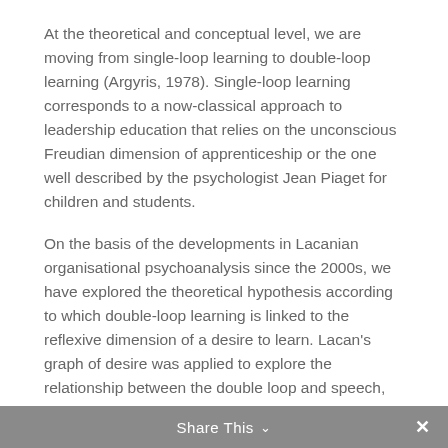At the theoretical and conceptual level, we are moving from single-loop learning to double-loop learning (Argyris, 1978). Single-loop learning corresponds to a now-classical approach to leadership education that relies on the unconscious Freudian dimension of apprenticeship or the one well described by the psychologist Jean Piaget for children and students.
On the basis of the developments in Lacanian organisational psychoanalysis since the 2000s, we have explored the theoretical hypothesis according to which double-loop learning is linked to the reflexive dimension of a desire to learn. Lacan's graph of desire was applied to explore the relationship between the double loop and speech, since it is speech that transmits the desire to learn.
Share This ∨  ✕